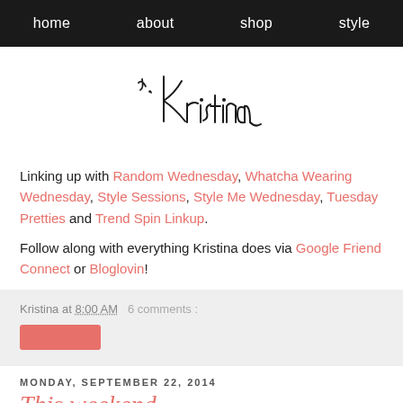home  about  shop  style
[Figure (illustration): Handwritten cursive signature reading 'x, Kristina']
Linking up with Random Wednesday, Whatcha Wearing Wednesday, Style Sessions, Style Me Wednesday, Tuesday Pretties and Trend Spin Linkup.
Follow along with everything Kristina does via Google Friend Connect or Bloglovin!
Kristina at 8:00 AM   6 comments :
MONDAY, SEPTEMBER 22, 2014
This weekend...